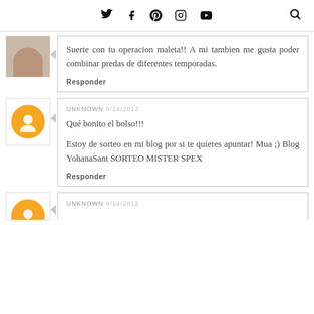social icons: twitter, facebook, pinterest, instagram, youtube, search
Suerte con tu operacion maleta!! A mi tambien me gusta poder combinar predas de diferentes temporadas.
Responder
UNKNOWN 9/14/2012
Qué bonito el bolso!!!
Estoy de sorteo en mi blog por si te quieres apuntar! Mua ;) Blog YohanaSant SORTEO MISTER SPEX
Responder
UNKNOWN 9/14/2012